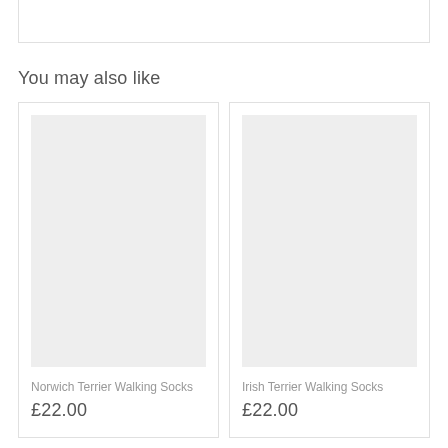You may also like
[Figure (other): Product image placeholder (grey rectangle) for Norwich Terrier Walking Socks]
Norwich Terrier Walking Socks
£22.00
[Figure (other): Product image placeholder (grey rectangle) for Irish Terrier Walking Socks]
Irish Terrier Walking Socks
£22.00